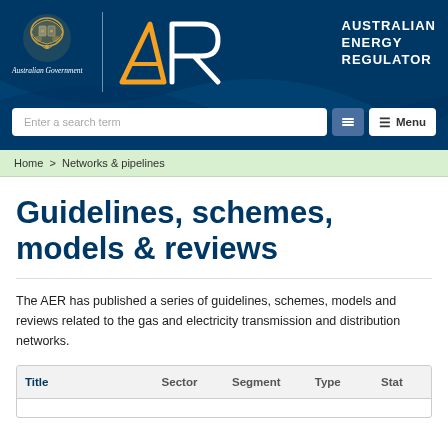[Figure (logo): Australian Government and Australian Energy Regulator header with logo, search bar, and menu button]
Home > Networks & pipelines
Guidelines, schemes, models & reviews
The AER has published a series of guidelines, schemes, models and reviews related to the gas and electricity transmission and distribution networks.
| Title | Sector | Segment | Type | Stat |
| --- | --- | --- | --- | --- |